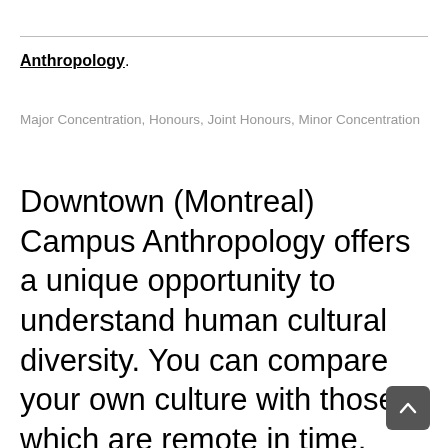Anthropology
Major Concentration, Honours, Joint Honours, Minor Concentration
Downtown (Montreal) Campus Anthropology offers a unique opportunity to understand human cultural diversity. You can compare your own culture with those which are remote in time, geographic distance, or simply in terms of cultural difference. Studying